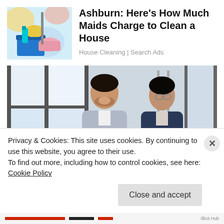[Figure (photo): Person holding cleaning bucket with supplies (mop, spray bottle, cleaning products) wearing yellow gloves]
Ashburn: Here's How Much Maids Charge to Clean a House
House Cleaning | Search Ads
[Figure (photo): Two businessmen in suits smiling and talking near large windows in an office setting]
Privacy & Cookies: This site uses cookies. By continuing to use this website, you agree to their use.
To find out more, including how to control cookies, see here: Cookie Policy
Close and accept